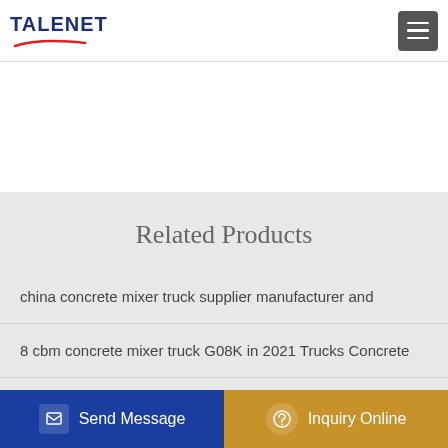TALENET
Related Products
china concrete mixer truck supplier manufacturer and
8 cbm concrete mixer truck G08K in 2021 Trucks Concrete
Outstanding Unbreakable concrete pump sealing rings
New Euromix EM 9 L on chassis RENAULT concrete mixer truck